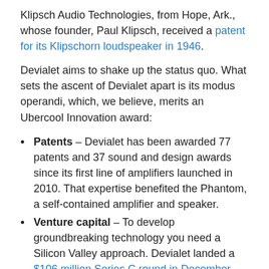Klipsch Audio Technologies, from Hope, Ark., whose founder, Paul Klipsch, received a patent for its Klipschorn loudspeaker in 1946.
Devialet aims to shake up the status quo. What sets the ascent of Devialet apart is its modus operandi, which, we believe, merits an Ubercool Innovation award:
Patents – Devialet has been awarded 77 patents and 37 sound and design awards since its first line of amplifiers launched in 2010. That expertise benefited the Phantom, a self-contained amplifier and speaker.
Venture capital – To develop groundbreaking technology you need a Silicon Valley approach. Devialet landed a $106 million Series C round in December